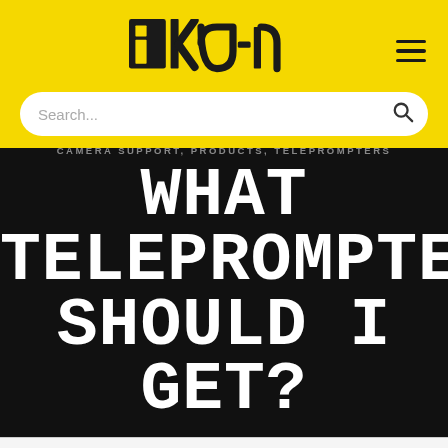[Figure (logo): ikan brand logo in black on yellow background, stylized text 'ikan' with square bracket design]
Search...
CAMERA SUPPORT, PRODUCTS, TELEPROMPTERS
WHAT TELEPROMPTER SHOULD I GET?
POSTED ON AUGUST 18, 2016 BY IKAN MARKETING